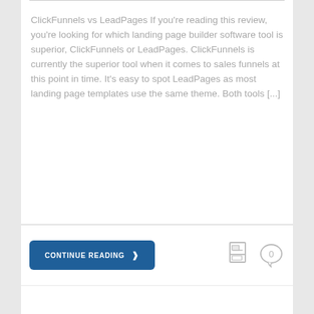ClickFunnels vs LeadPages If you're reading this review, you're looking for which landing page builder software tool is superior, ClickFunnels or LeadPages. ClickFunnels is currently the superior tool when it comes to sales funnels at this point in time. It's easy to spot LeadPages as most landing page templates use the same theme. Both tools [...]
[Figure (other): Continue Reading button with right arrow chevron, and two icons: a document/image icon and a comment bubble with '0']